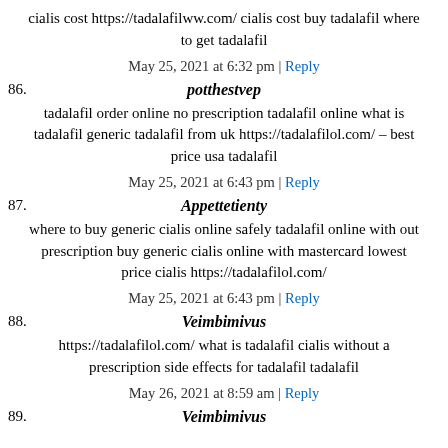cialis cost https://tadalafilww.com/ cialis cost buy tadalafil where to get tadalafil
May 25, 2021 at 6:32 pm | Reply
86. potthestvep
tadalafil order online no prescription tadalafil online what is tadalafil generic tadalafil from uk https://tadalafilol.com/ – best price usa tadalafil
May 25, 2021 at 6:43 pm | Reply
87. Appettetienty
where to buy generic cialis online safely tadalafil online with out prescription buy generic cialis online with mastercard lowest price cialis https://tadalafilol.com/
May 25, 2021 at 6:43 pm | Reply
88. Veimbimivus
https://tadalafilol.com/ what is tadalafil cialis without a prescription side effects for tadalafil tadalafil
May 26, 2021 at 8:59 am | Reply
89. Veimbimivus